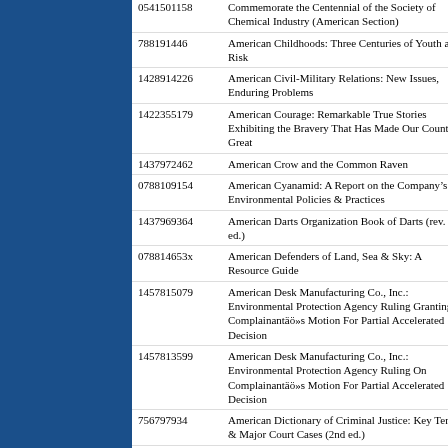| ID | Title |
| --- | --- |
| 0541501158 | Commemorate the Centennial of the Society of Chemical Industry (American Section) |
| 788191446 | American Childhoods: Three Centuries of Youth at Risk |
| 1428914226 | American Civil-Military Relations: New Issues, Enduring Problems |
| 1422355179 | American Courage: Remarkable True Stories Exhibiting the Bravery That Has Made Our Country Great |
| 1437972462 | American Crow and the Common Raven |
| 0788109154 | American Cyanamid: A Report on the Company’s Environmental Policies & Practices |
| 1437969364 | American Darts Organization Book of Darts (rev. ed.) |
| 078814653x | American Defenders of Land, Sea & Sky: A Resource Guide |
| 1457815079 | American Desk Manufacturing Co., Inc.: Environmental Protection Agency Ruling Granting Complainantäö»s Motion For Partial Accelerated Decision |
| 1457813599 | American Desk Manufacturing Co., Inc.: Environmental Protection Agency Ruling On Complainantäö»s Motion For Partial Accelerated Decision |
| 756797934 | American Dictionary of Criminal Justice: Key Terms & Major Court Cases (2nd ed.) |
| 1422319733 | American Diplomacy and the Global Environmental Challenges of the 21st Century |
| 756778840 | American Dream: The 50s |
| 1422362604 | American Dynasty: Aristocracy, Fortune, and the Politics of Deceit in the House of Bush |
| 788199757 | American Eagle: The Ascent of Bob Crandall & American Airlines |
| 1428993630 | American Economy in Transition |